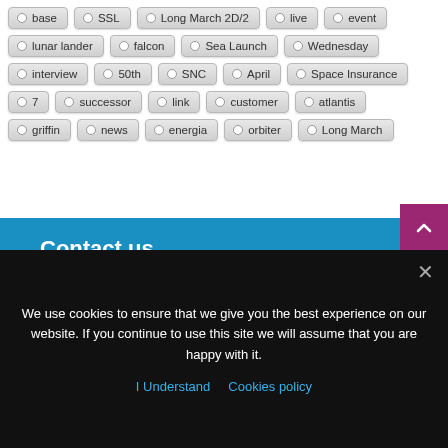base · SSL · Long March 2D/2 · live · event
lunar lander · falcon · Sea Launch · Wednesday
interview · 50th · SNC · April · Space Insurance
7 · successor · link · customer · atlantis
griffin · news · energia · orbiter · Long March
Contact us
We use cookies to ensure that we give you the best experience on our website. If you continue to use this site we will assume that you are happy with it.
I Understand   Cookies policy